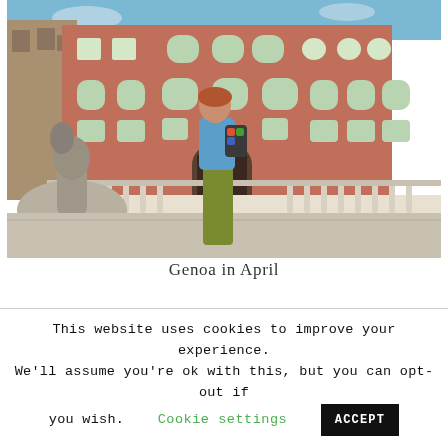[Figure (photo): A woman with red hair wearing sunglasses, a blue shirt, and olive/green wide-leg pants, standing in front of a grand pink/terracotta baroque palace building in Genoa, Italy. There is a stone fountain sculpture on the left side and ornate white balustrade in front of the palace.]
Genoa in April
This website uses cookies to improve your experience. We'll assume you're ok with this, but you can opt-out if you wish.
Cookie settings  ACCEPT